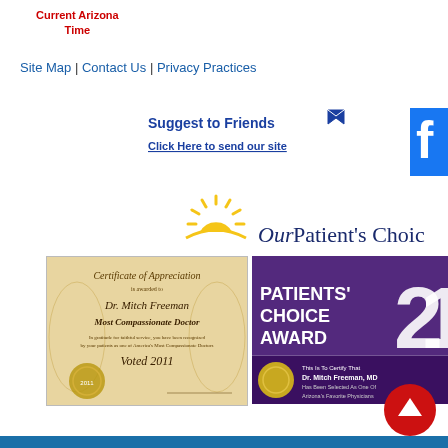Current Arizona Time
Site Map | Contact Us | Privacy Practices
[Figure (illustration): Suggest to Friends - Click Here to send our site button with envelope icon]
[Figure (illustration): Facebook logo partial]
[Figure (illustration): Our Patient's Choice logo with sun graphic]
[Figure (illustration): Certificate of Appreciation for Dr. Mitch Freeman - Most Compassionate Doctor - Voted 2011]
[Figure (illustration): Patients' Choice Award 2015 - Dr. Mitch Freeman, MD selected as one of Arizona's Favorite Physicians]
[Figure (illustration): Red circular back-to-top button with up arrow]